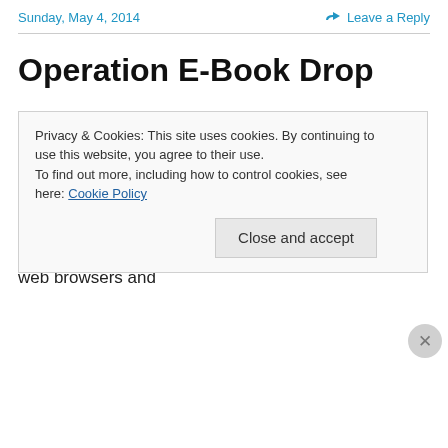Sunday, May 4, 2014   Leave a Reply
Operation E-Book Drop
One of the more popular gifts being sent to servicemen and women of our coalition forces this holiday season is an e-book reader (Kindle, Sony, iPhone, Nook, Blackberry etc.)Here is the chance to fill those readers with lots of great reading material – and e-books from Smashwords are available to read on web browsers and
Privacy & Cookies: This site uses cookies. By continuing to use this website, you agree to their use. To find out more, including how to control cookies, see here: Cookie Policy
Close and accept